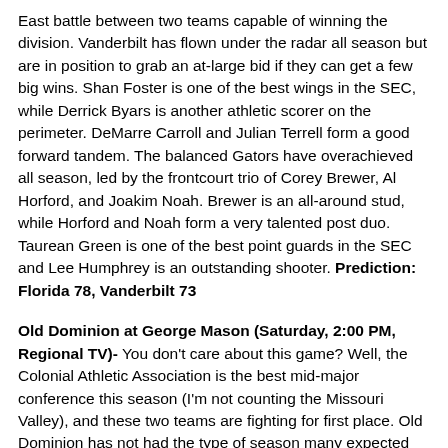East battle between two teams capable of winning the division. Vanderbilt has flown under the radar all season but are in position to grab an at-large bid if they can get a few big wins. Shan Foster is one of the best wings in the SEC, while Derrick Byars is another athletic scorer on the perimeter. DeMarre Carroll and Julian Terrell form a good forward tandem. The balanced Gators have overachieved all season, led by the frontcourt trio of Corey Brewer, Al Horford, and Joakim Noah. Brewer is an all-around stud, while Horford and Noah form a very talented post duo. Taurean Green is one of the best point guards in the SEC and Lee Humphrey is an outstanding shooter. Prediction: Florida 78, Vanderbilt 73
Old Dominion at George Mason (Saturday, 2:00 PM, Regional TV)- You don't care about this game? Well, the Colonial Athletic Association is the best mid-major conference this season (I'm not counting the Missouri Valley), and these two teams are fighting for first place. Old Dominion has not had the type of season many expected them to have, but they are still the team to beat in the Colonial. Isaiah Hunter is a very good backcourt scorer and Drew Williamson is a solid distributor. Arnaud Dahi and Alex Loughton are the best forward duo in the conference. George Mason is a very balanced group, with five double-figure scorers. Lamar Butler and Tony Skinn form a very good...